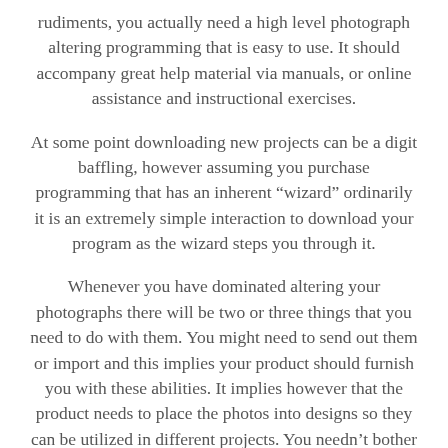rudiments, you actually need a high level photograph altering programming that is easy to use. It should accompany great help material via manuals, or online assistance and instructional exercises.
At some point downloading new projects can be a digit baffling, however assuming you purchase programming that has an inherent “wizard” ordinarily it is an extremely simple interaction to download your program as the wizard steps you through it.
Whenever you have dominated altering your photographs there will be two or three things that you need to do with them. You might need to send out them or import and this implies your product should furnish you with these abilities. It implies however that the product needs to place the photos into designs so they can be utilized in different projects. You needn’t bother with a gigantic photograph altering program that has huge loads of